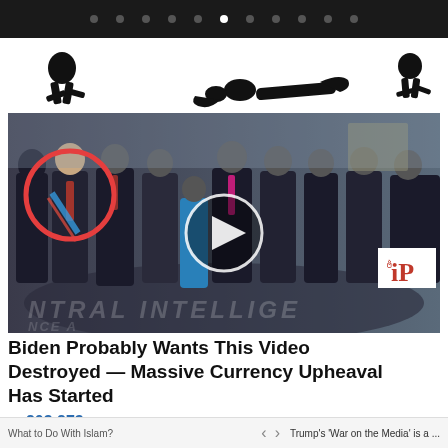[Figure (screenshot): Dark top navigation bar with pagination dots, one white dot indicating active slide]
[Figure (illustration): Black and white illustration of running/action figures on white background, partial banner graphic]
[Figure (photo): Photo of group of people in dark suits standing in CIA headquarters lobby. One person on the left is highlighted with a red circle. A video play button overlay is shown in the center. iP logo in bottom right corner.]
Biden Probably Wants This Video Destroyed — Massive Currency Upheaval Has Started
203,273
What to Do With Islam? | < > | Trump's 'War on the Media' is a ...